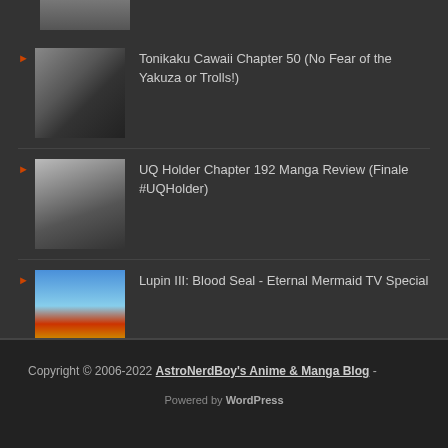[Figure (screenshot): Partial thumbnail of an anime or manga image at the top]
Tonikaku Cawaii Chapter 50 (No Fear of the Yakuza or Trolls!)
UQ Holder Chapter 192 Manga Review (Finale #UQHolder)
Lupin III: Blood Seal - Eternal Mermaid TV Special
Copyright © 2006-2022 AstroNerdBoy's Anime & Manga Blog - Powered by WordPress